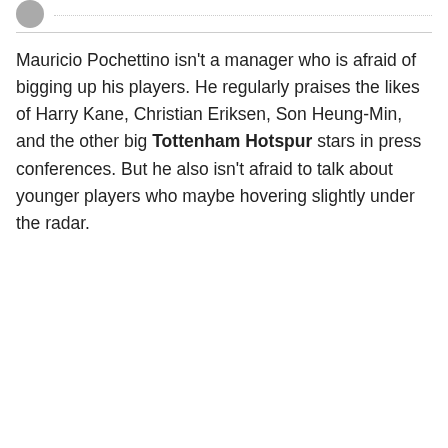Mauricio Pochettino isn't a manager who is afraid of bigging up his players. He regularly praises the likes of Harry Kane, Christian Eriksen, Son Heung-Min, and the other big Tottenham Hotspur stars in press conferences. But he also isn't afraid to talk about younger players who maybe hovering slightly under the radar.